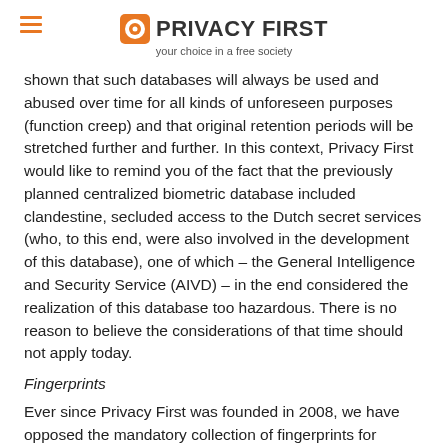PRIVACY FIRST — your choice in a free society
shown that such databases will always be used and abused over time for all kinds of unforeseen purposes (function creep) and that original retention periods will be stretched further and further. In this context, Privacy First would like to remind you of the fact that the previously planned centralized biometric database included clandestine, secluded access to the Dutch secret services (who, to this end, were also involved in the development of this database), one of which – the General Intelligence and Security Service (AIVD) – in the end considered the realization of this database too hazardous. There is no reason to believe the considerations of that time should not apply today.
Fingerprints
Ever since Privacy First was founded in 2008, we have opposed the mandatory collection of fingerprints for passports and identity cards. Since the introduction of